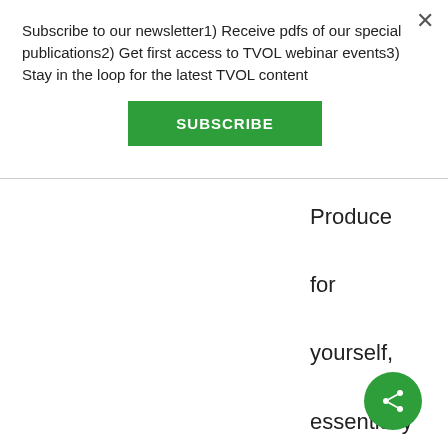Subscribe to our newsletter1) Receive pdfs of our special publications2) Get first access to TVOL webinar events3) Stay in the loop for the latest TVOL content
SUBSCRIBE
Produce for yourself, essentially no tax. Produce for